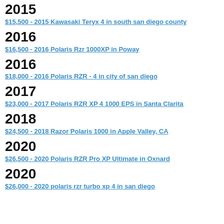2015
$15,500 - 2015 Kawasaki Teryx 4 in south san diego county
2016
$16,500 - 2016 Polaris Rzr 1000XP in Poway
2016
$18,000 - 2016 Polaris RZR - 4 in city of san diego
2017
$23,000 - 2017 Polaris RZR XP 4 1000 EPS in Santa Clarita
2018
$24,500 - 2018 Razor Polaris 1000 in Apple Valley, CA
2020
$26,500 - 2020 Polaris RZR Pro XP Ultimate in Oxnard
2020
$26,000 - 2020 polaris rzr turbo xp 4 in san diego